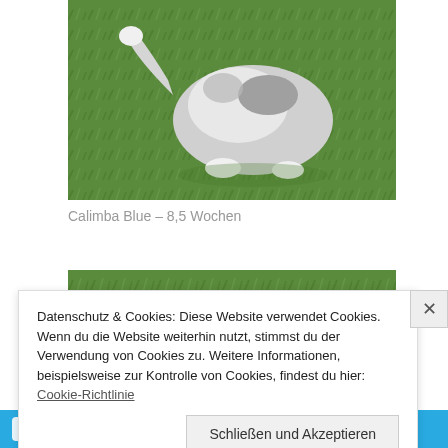[Figure (photo): Fluffy grey and white puppy/dog on green grass, viewed from above/side, tail visible]
Calimba Blue – 8,5 Wochen
[Figure (photo): Small fluffy puppy peeking up from green grass, face visible with brown and white markings]
Datenschutz & Cookies: Diese Website verwendet Cookies. Wenn du die Website weiterhin nutzt, stimmst du der Verwendung von Cookies zu. Weitere Informationen, beispielsweise zur Kontrolle von Cookies, findest du hier: Cookie-Richtlinie
Schließen und Akzeptieren